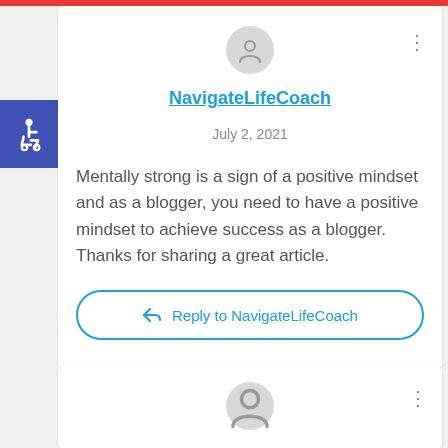[Figure (screenshot): User avatar icon — grey circle with person silhouette]
NavigateLifeCoach
July 2, 2021
Mentally strong is a sign of a positive mindset and as a blogger, you need to have a positive mindset to achieve success as a blogger. Thanks for sharing a great article.
Reply to NavigateLifeCoach